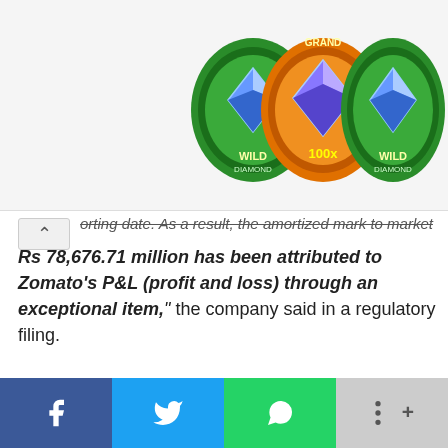[Figure (logo): Three casino-style diamond medallion logos labeled WILD, GRAND 100x, WILD on a green/orange background]
orting date. As a result, the amortized mark to market g... Rs 78,676.71 million has been attributed to Zomato's P&L (profit and loss) through an exceptional item," the company said in a regulatory filing.
[Figure (other): Social media share bar with Facebook, Twitter, WhatsApp, and More buttons]